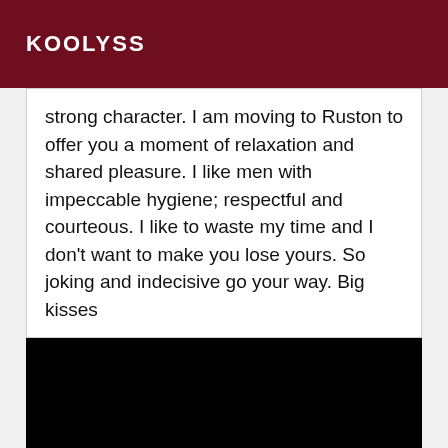KOOLYSS
strong character. I am moving to Ruston to offer you a moment of relaxation and shared pleasure. I like men with impeccable hygiene; respectful and courteous. I like to waste my time and I don't want to make you lose yours. So joking and indecisive go your way. Big kisses
[Figure (photo): Black/dark image area, content not visible]